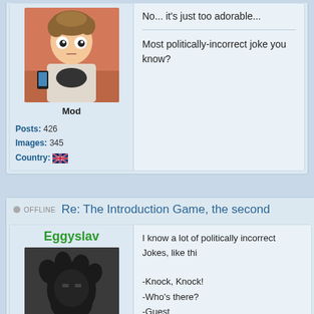[Figure (illustration): South Park style cartoon avatar of a boy with brown hair and Batman shirt]
Mod
Posts: 426
Images: 345
Country: [UK flag]
No... it's just too adorable...
Most politically-incorrect joke you know?
OFFLINE
Re: The Introduction Game, the second
Eggyslav
[Figure (illustration): Dark silhouette avatar of a hairy figure]
Mod
I know a lot of politically incorrect Jokes, like thi
-Knock, Knock!
-Who's there?
-Guest
-What Guest?
-Guestapo, Hande Hoch!
(Sorry, Janina.)